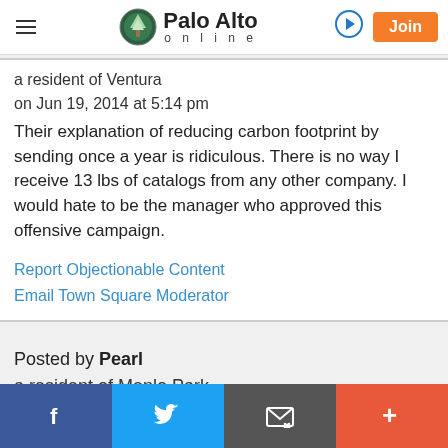Palo Alto online — navigation header with logo, login, and Join button
a resident of Ventura
on Jun 19, 2014 at 5:14 pm
Their explanation of reducing carbon footprint by sending once a year is ridiculous. There is no way I receive 13 lbs of catalogs from any other company. I would hate to be the manager who approved this offensive campaign.
Report Objectionable Content
Email Town Square Moderator
Posted by Pearl
a resident of Menlo Park
Facebook | Twitter | Email | Plus